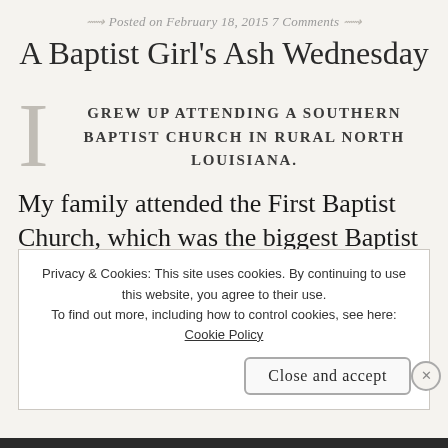Posted on February 18, 2015 7 Comments
A Baptist Girl's Ash Wednesday
I GREW UP ATTENDING A SOUTHERN BAPTIST CHURCH IN RURAL NORTH LOUISIANA.
My family attended the First Baptist Church, which was the biggest Baptist church in our tiny town. The
Privacy & Cookies: This site uses cookies. By continuing to use this website, you agree to their use. To find out more, including how to control cookies, see here: Cookie Policy
Close and accept